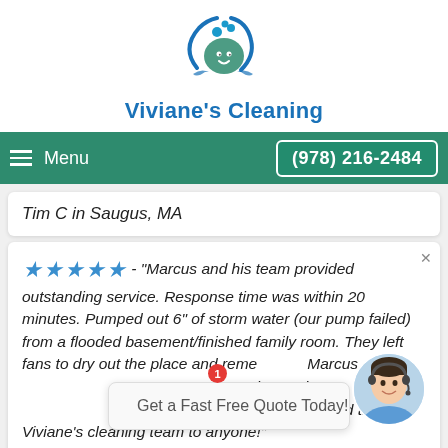[Figure (logo): Viviane's Cleaning logo — circular icon with water droplet and leaf in blue and teal tones]
Viviane's Cleaning
Menu   (978) 216-2484
Tim C in Saugus, MA
★★★★★ - "Marcus and his team provided outstanding service. Response time was within 20 minutes. Pumped out 6" of storm water (our pump failed) from a flooded basement/finished family room. They left fans to dry out the place and remediated mold. Marcus was helpful, thorough, patient, and courteous with our insurance company. Would not hesitate to recommend this Viviane's cleaning team to anyone!"
Get a Fast Free Quote Today!